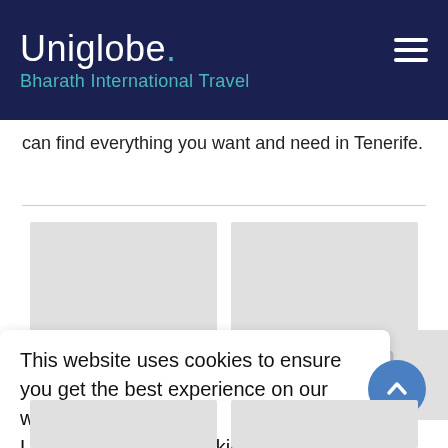Uniglobe. Bharath International Travel
can find everything you want and need in Tenerife.
[Figure (screenshot): Two gray image placeholder boxes arranged side by side]
This website uses cookies to ensure you get the best experience on our website.
Learn more about cookies
Agree
[Figure (screenshot): Two gray image placeholder boxes at the bottom of page]